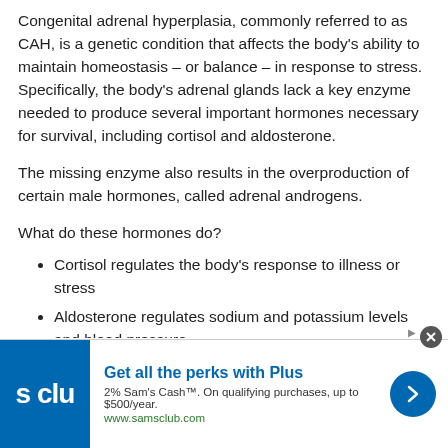Congenital adrenal hyperplasia, commonly referred to as CAH, is a genetic condition that affects the body's ability to maintain homeostasis – or balance – in response to stress. Specifically, the body's adrenal glands lack a key enzyme needed to produce several important hormones necessary for survival, including cortisol and aldosterone.
The missing enzyme also results in the overproduction of certain male hormones, called adrenal androgens.
What do these hormones do?
Cortisol regulates the body's response to illness or stress
Aldosterone regulates sodium and potassium levels and blood pressure
Male hormones, such as androstenedione and
[Figure (other): Sam's Club advertisement banner: 'Get all the perks with Plus', 2% Sam's Cash on qualifying purchases up to $500/year, www.samsclub.com]